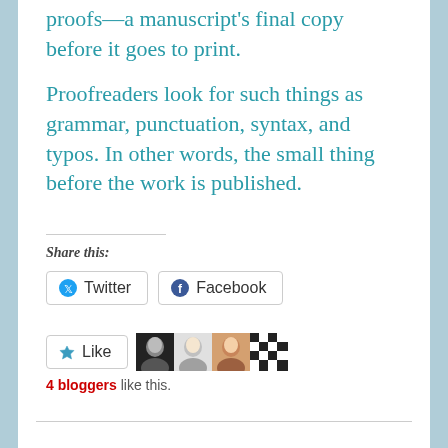proofs—a manuscript's final copy before it goes to print.
Proofreaders look for such things as grammar, punctuation, syntax, and typos. In other words, the small thing before the work is published.
Share this:
[Figure (screenshot): Twitter and Facebook share buttons]
[Figure (screenshot): Like button with 4 blogger avatars and text '4 bloggers like this.']